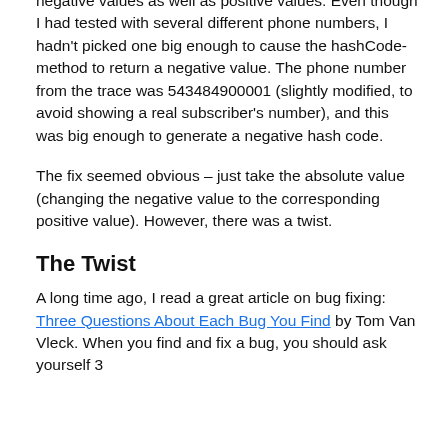negative values as well as positive values. Even though I had tested with several different phone numbers, I hadn't picked one big enough to cause the hashCode-method to return a negative value. The phone number from the trace was 543484900001 (slightly modified, to avoid showing a real subscriber's number), and this was big enough to generate a negative hash code.
The fix seemed obvious – just take the absolute value (changing the negative value to the corresponding positive value). However, there was a twist.
The Twist
A long time ago, I read a great article on bug fixing: Three Questions About Each Bug You Find by Tom Van Vleck. When you find and fix a bug, you should ask yourself 3